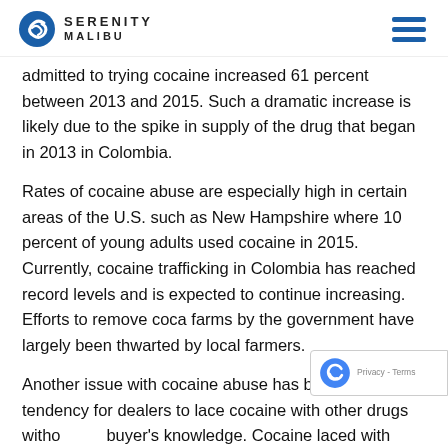Serenity Malibu
admitted to trying cocaine increased 61 percent between 2013 and 2015. Such a dramatic increase is likely due to the spike in supply of the drug that began in 2013 in Colombia.
Rates of cocaine abuse are especially high in certain areas of the U.S. such as New Hampshire where 10 percent of young adults used cocaine in 2015. Currently, cocaine trafficking in Colombia has reached record levels and is expected to continue increasing. Efforts to remove coca farms by the government have largely been thwarted by local farmers.
Another issue with cocaine abuse has been the tendency for dealers to lace cocaine with other drugs without the buyer's knowledge. Cocaine laced with fentanyl, and